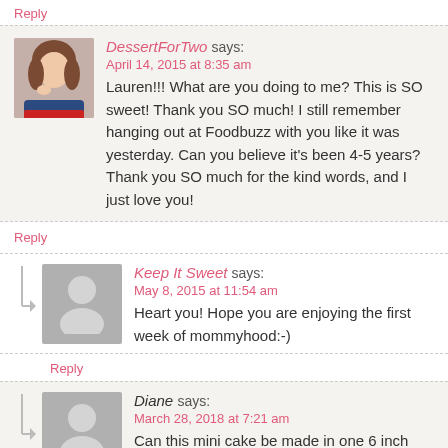Reply
DessertForTwo says:
April 14, 2015 at 8:35 am
Lauren!!! What are you doing to me? This is SO sweet! Thank you SO much! I still remember hanging out at Foodbuzz with you like it was yesterday. Can you believe it's been 4-5 years? Thank you SO much for the kind words, and I just love you!
Reply
Keep It Sweet says:
May 8, 2015 at 11:54 am
Heart you! Hope you are enjoying the first week of mommyhood:-)
Reply
Diane says:
March 28, 2018 at 7:21 am
Can this mini cake be made in one 6 inch pan? If